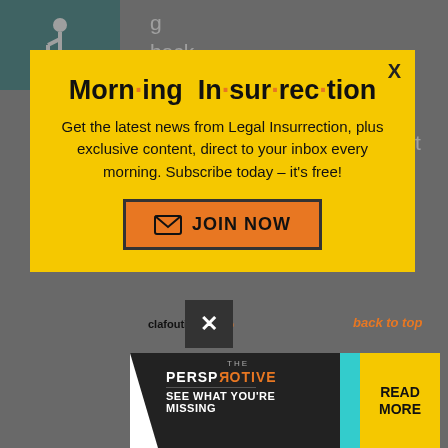[Figure (screenshot): Background webpage with accessibility icon (wheelchair symbol in teal box) and article text partially visible behind a modal overlay]
[Figure (infographic): Yellow modal popup for Morning Insurrection newsletter subscription with title, description, and JOIN NOW button]
Morn·ing In·sur·rec·tion
Get the latest news from Legal Insurrection, plus exclusive content, direct to your inbox every morning. Subscribe today – it's free!
[Figure (screenshot): Bottom advertisement banner: THE PERSPECTIVE - SEE WHAT YOU'RE MISSING with READ MORE button]